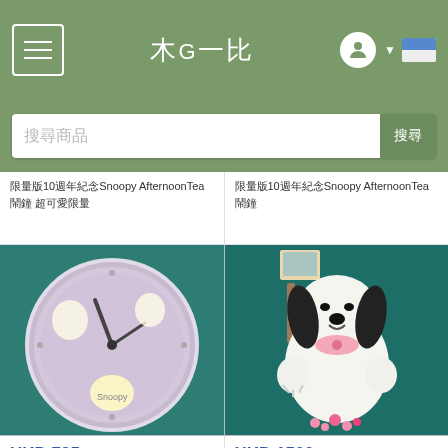木G一比 navigation header with menu, logo, avatar, and flag
搜尋商品 search bar
限量版10週年紀念Snoopy AfternoonTea 鬧鐘 超可愛限量
限量版10週年紀念Snoopy AfternoonTea 鬧鐘
[Figure (photo): Snoopy themed wall clock with purple face on teal background]
[Figure (photo): Snoopy plush stuffed toy with pink bow on teal background]
HKD 795
HKD 1500
限量版10週年紀念Snoopy AfternoonTea 鬧鐘
限量版10週年紀念Snoopy AfternoonTea 鬧鐘